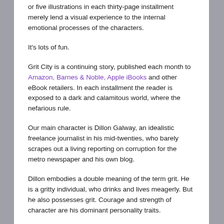or five illustrations in each thirty-page installment merely lend a visual experience to the internal emotional processes of the characters.
It's lots of fun.
Grit City is a continuing story, published each month to Amazon, Barnes & Noble, Apple iBooks and other eBook retailers. In each installment the reader is exposed to a dark and calamitous world, where the nefarious rule.
Our main character is Dillon Galway, an idealistic freelance journalist in his mid-twenties, who barely scrapes out a living reporting on corruption for the metro newspaper and his own blog.
Dillon embodies a double meaning of the term grit. He is a gritty individual, who drinks and lives meagerly. But he also possesses grit. Courage and strength of character are his dominant personality traits.